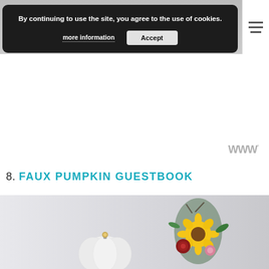[Figure (screenshot): Website screenshot with cookie consent banner overlay on a blurred background image. Banner reads: 'By continuing to use the site, you agree to the use of cookies.' with 'more information' link and 'Accept' button. Hamburger menu icon visible top right.]
By continuing to use the site, you agree to the use of cookies.
more information    Accept
8. FAUX PUMPKIN GUESTBOOK
[Figure (photo): Photo of a white faux pumpkin guestbook with a gold decorative element, alongside a fall floral arrangement featuring sunflowers, roses, and foliage on a light gray background.]